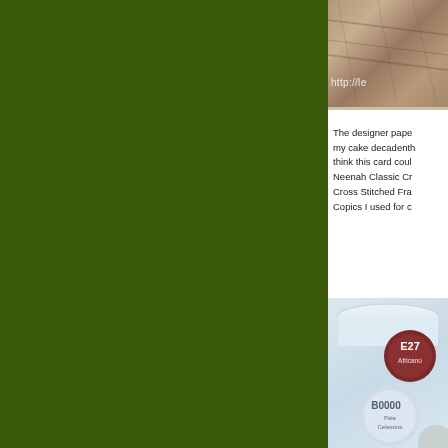[Figure (photo): Green background panel on left side of blog page layout]
[Figure (photo): Photo at top right showing a crafted card with URL overlay reading http://le...]
The designer pape my cake decadenth think this card coul Neenah Classic Cr Cross Stitched Fra Copics I used for c
[Figure (photo): Photo of Copic markers including E27 Africano and B0000 Pale Celestine in a white container]